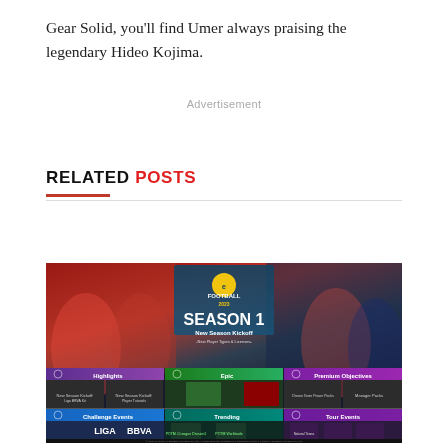Gear Solid, you'll find Umer always praising the legendary Hideo Kojima.
Advertisement
RELATED POSTS
[Figure (screenshot): eFootball 2023 Season 1 New Season Kickoff promotional banner showing various football players and game mode categories including Highlights, Epic, Premium Objectives, Challenge Events, Trending, and Tour Events.]